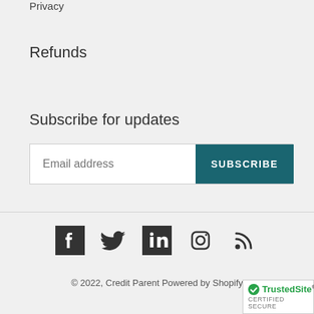Privacy
Refunds
Subscribe for updates
Email address | SUBSCRIBE
[Figure (other): Row of social media icons: Facebook, Twitter, LinkedIn, Instagram, RSS]
© 2022, Credit Parent Powered by Shopify
[Figure (logo): TrustedSite CERTIFIED SECURE badge]